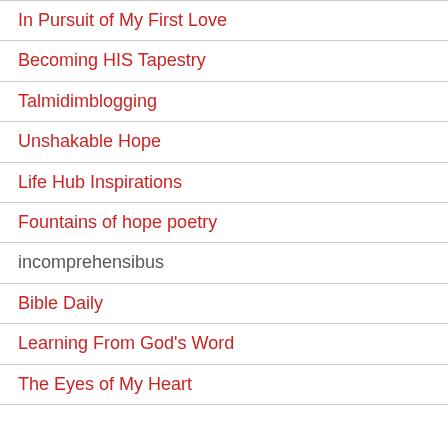In Pursuit of My First Love
Becoming HIS Tapestry
Talmidimblogging
Unshakable Hope
Life Hub Inspirations
Fountains of hope poetry
incomprehensibus
Bible Daily
Learning From God's Word
The Eyes of My Heart